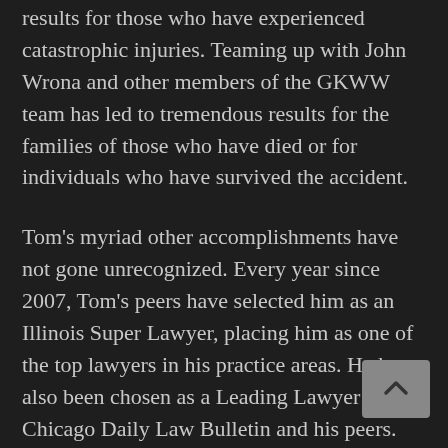results for those who have experienced catastrophic injuries. Teaming up with John Wrona and other members of the GKWW team has led to tremendous results for the families of those who have died or for individuals who have survived the accident.
Tom's myriad other accomplishments have not gone unrecognized. Every year since 2007, Tom's peers have selected him as an Illinois Super Lawyer, placing him as one of the top lawyers in his practice areas. He has also been chosen as a Leading Lawyer by the Chicago Daily Law Bulletin and his peers. Tom holds membership in the Million Dollar Advocates Forum–a distinction limited to trial lawyers who have demonstrated exceptional skill, experience, and excellence in advocacy by